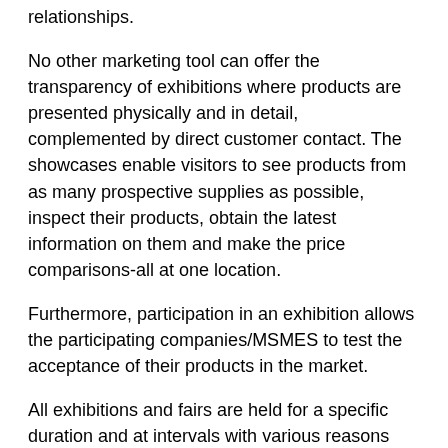relationships.
No other marketing tool can offer the transparency of exhibitions where products are presented physically and in detail, complemented by direct customer contact. The showcases enable visitors to see products from as many prospective supplies as possible, inspect their products, obtain the latest information on them and make the price comparisons-all at one location.
Furthermore, participation in an exhibition allows the participating companies/MSMES to test the acceptance of their products in the market.
All exhibitions and fairs are held for a specific duration and at intervals with various reasons and themes. There are two main categories of exhibitions: the consumer shows or fairs, and trade exhibitions. Consumer shows provide a central, focused area for consumers from a specific locality to visit and buy goods and services.